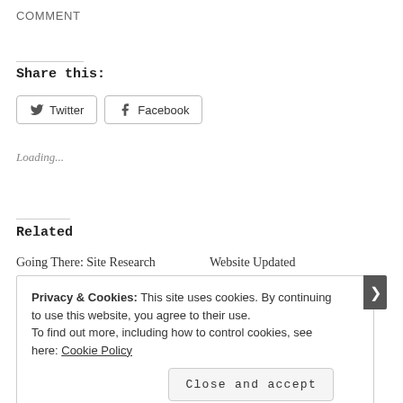COMMENT
Share this:
Twitter
Facebook
Loading...
Related
Going There: Site Research
Website Updated
Privacy & Cookies: This site uses cookies. By continuing to use this website, you agree to their use.
To find out more, including how to control cookies, see here: Cookie Policy
Close and accept